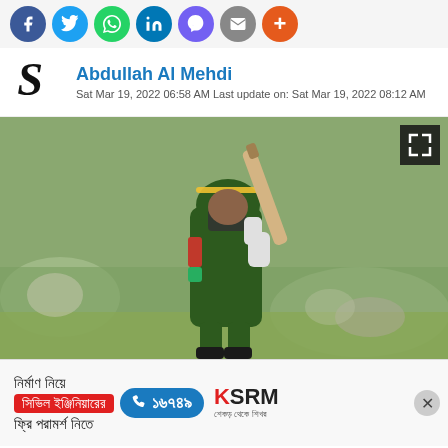[Figure (infographic): Social media share icons row: Facebook (blue circle), Twitter (light blue circle), WhatsApp (green circle), LinkedIn (blue circle), Viber (purple circle), Email (grey circle), Plus/more (orange circle)]
Abdullah Al Mehdi
Sat Mar 19, 2022 06:58 AM Last update on: Sat Mar 19, 2022 08:12 AM
[Figure (photo): Cricket player in green Bangladesh kit, wearing a helmet, raising a cricket bat, celebrating on a cricket field. Blurred background with spectators.]
[Figure (infographic): Advertisement banner: Bengali text 'নির্মাণ নিয়ে সিভিল ইঞ্জিনিয়ারের ফ্রি পরামর্শ নিতে', phone number 16749, KSRM logo with Bengali tagline]